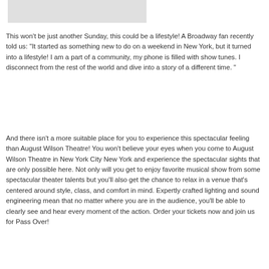[Figure (other): Placeholder image area (light gray rectangle)]
This won't be just another Sunday, this could be a lifestyle! A Broadway fan recently told us: "It started as something new to do on a weekend in New York, but it turned into a lifestyle! I am a part of a community, my phone is filled with show tunes. I disconnect from the rest of the world and dive into a story of a different time. "
And there isn't a more suitable place for you to experience this spectacular feeling than August Wilson Theatre! You won't believe your eyes when you come to August Wilson Theatre in New York City New York and experience the spectacular sights that are only possible here. Not only will you get to enjoy favorite musical show from some spectacular theater talents but you'll also get the chance to relax in a venue that's centered around style, class, and comfort in mind. Expertly crafted lighting and sound engineering mean that no matter where you are in the audience, you'll be able to clearly see and hear every moment of the action. Order your tickets now and join us for Pass Over!